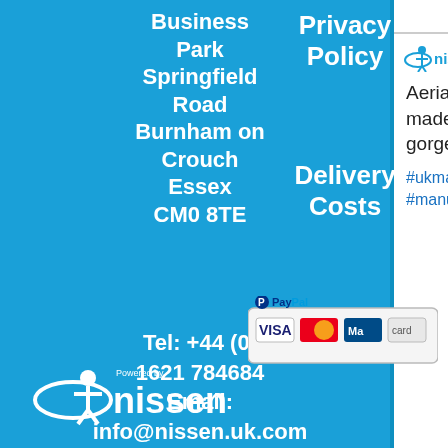Business Park Springfield Road Burnham on Crouch Essex CM0 8TE
Tel: +44 (0) 1621 784684 Email: info@nissen.uk.com
[Figure (logo): Nissen company logo in white at bottom left]
Meta
[Figure (screenshot): Nissen logo and bird icon with 'Au' text visible in white card]
Aerial A Frame mat made today in our gorgeous lilac PVC
#ukmanufacturing #manufact...
Privacy Policy
Delivery Costs
[Figure (other): PayPal payment badge showing VISA, MasterCard, Maestro, and another card logo]